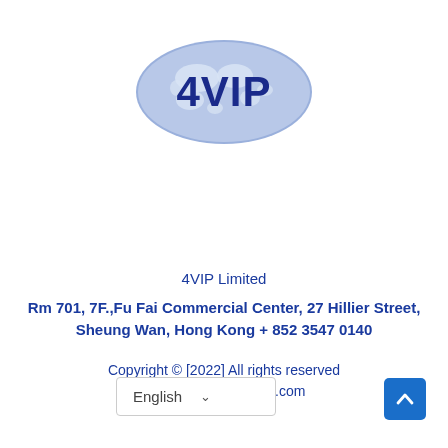[Figure (logo): 4VIP logo: a blue oval shape with a world map silhouette in light blue/white, and the text '4VIP' in dark navy/blue bold letters in the center]
4VIP Limited
Rm 701, 7F.,Fu Fai Commercial Center, 27 Hillier Street, Sheung Wan, Hong Kong + 852 3547 0140
Copyright © [2022] All rights reserved
contact@website4vip.com